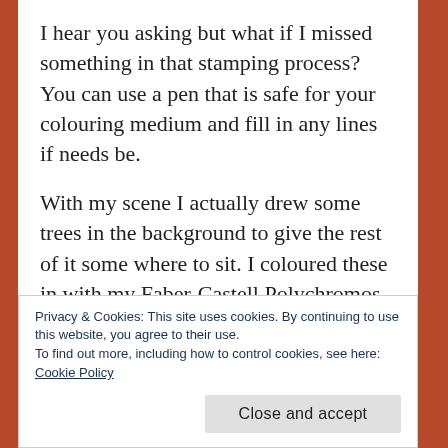I hear you asking but what if I missed something in that stamping process? You can use a pen that is safe for your colouring medium and fill in any lines if needs be.
With my scene I actually drew some trees in the background to give the rest of it some where to sit. I coloured these in with my Faber-Castell Polychromos Pencils lightly because I wanted to have the focus on the front images. The house, Gnome and signpost I coloured in with my Copic
Privacy & Cookies: This site uses cookies. By continuing to use this website, you agree to their use.
To find out more, including how to control cookies, see here:
Cookie Policy
Close and accept